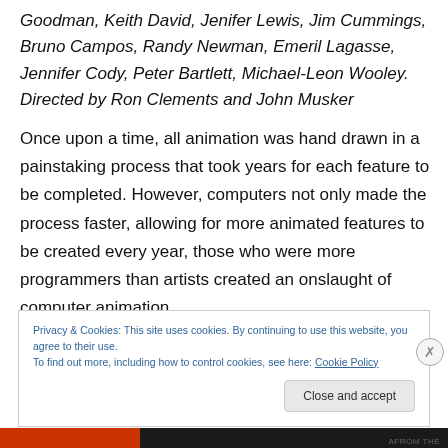Goodman, Keith David, Jenifer Lewis, Jim Cummings, Bruno Campos, Randy Newman, Emeril Lagasse, Jennifer Cody, Peter Bartlett, Michael-Leon Wooley. Directed by Ron Clements and John Musker
Once upon a time, all animation was hand drawn in a painstaking process that took years for each feature to be completed. However, computers not only made the process faster, allowing for more animated features to be created every year, those who were more programmers than artists created an onslaught of computer animation
Privacy & Cookies: This site uses cookies. By continuing to use this website, you agree to their use.
To find out more, including how to control cookies, see here: Cookie Policy